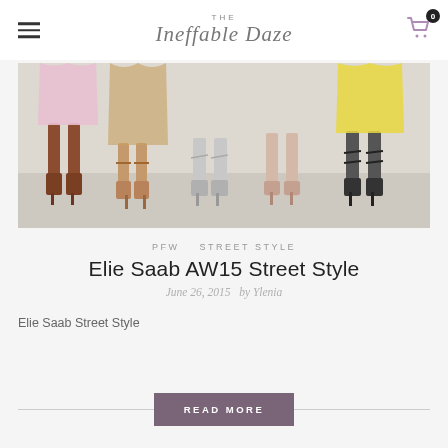The Ineffable Daze
[Figure (photo): Photo of several women's legs wearing various styles of shoes and boots, standing on a light surface. Visible clothing includes pink, yellow, and other colored skirts/dresses.]
PFW   STREET STYLE
Elie Saab AW15 Street Style
June 26, 2015  by Ylenia
Elie Saab Street Style
READ MORE